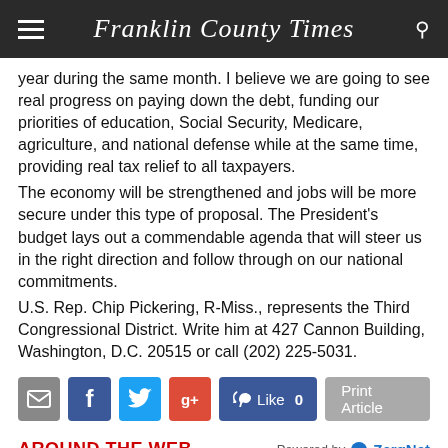Franklin County Times
year during the same month. I believe we are going to see real progress on paying down the debt, funding our priorities of education, Social Security, Medicare, agriculture, and national defense while at the same time, providing real tax relief to all taxpayers.
The economy will be strengthened and jobs will be more secure under this type of proposal. The President's budget lays out a commendable agenda that will steer us in the right direction and follow through on our national commitments.
U.S. Rep. Chip Pickering, R-Miss., represents the Third Congressional District. Write him at 427 Cannon Building, Washington, D.C. 20515 or call (202) 225-5031.
AROUND THE WEB
[Figure (photo): Two thumbnail photos of people, left with blonde hair, right with brunette hair]